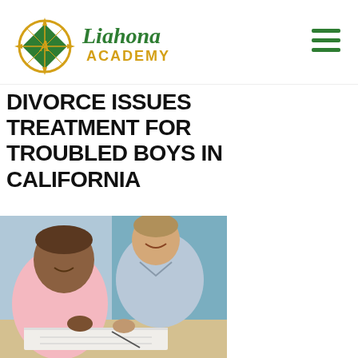[Figure (logo): Liahona Academy logo: compass rose icon in gold/green with green text 'Liahona' and orange text 'ACADEMY']
[Figure (other): Hamburger menu icon (three green horizontal lines) in top right corner]
DIVORCE ISSUES TREATMENT FOR TROUBLED BOYS IN CALIFORNIA
[Figure (photo): An adult male mentor smiling and leaning over to help a young boy who is reading/writing at a desk. The boy is wearing a pink shirt. Both appear engaged and happy.]